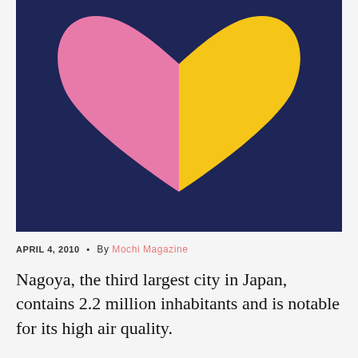[Figure (illustration): A two-tone heart shape — left half pink, right half yellow — centered on a dark navy blue background.]
APRIL 4, 2010 • By Mochi Magazine
Nagoya, the third largest city in Japan, contains 2.2 million inhabitants and is notable for its high air quality.